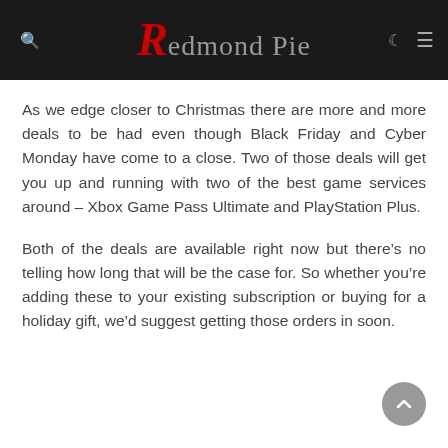Redmond Pie
As we edge closer to Christmas there are more and more deals to be had even though Black Friday and Cyber Monday have come to a close. Two of those deals will get you up and running with two of the best game services around – Xbox Game Pass Ultimate and PlayStation Plus.
Both of the deals are available right now but there's no telling how long that will be the case for. So whether you're adding these to your existing subscription or buying for a holiday gift, we'd suggest getting those orders in soon.